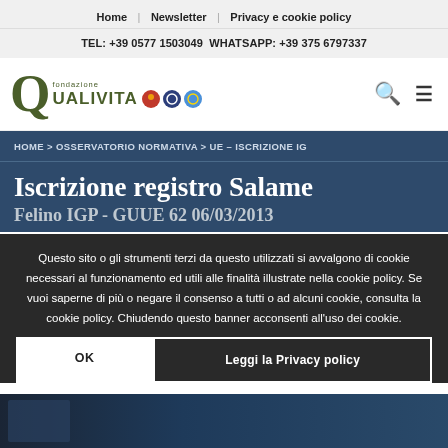Home | Newsletter | Privacy e cookie policy
TEL: +39 0577 1503049 WHATSAPP: +39 375 6797337
[Figure (logo): Fondazione Qualivita logo with Q letter in olive green, text 'fondazione QUALIVITA', and three colored circular badges (red, dark blue, light blue)]
HOME > OSSERVATORIO NORMATIVA > UE – Iscrizione IG
Iscrizione registro Salame Felino IGP - GUUE 62 06/03/2013
Questo sito o gli strumenti terzi da questo utilizzati si avvalgono di cookie necessari al funzionamento ed utili alle finalità illustrate nella cookie policy. Se vuoi saperne di più o negare il consenso a tutti o ad alcuni cookie, consulta la cookie policy. Chiudendo questo banner acconsenti all'uso dei cookie.
OK
Leggi la Privacy policy